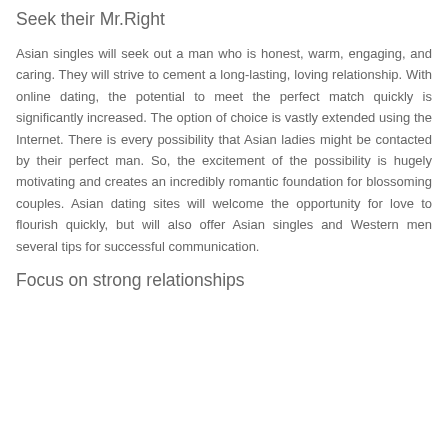Seek their Mr.Right
Asian singles will seek out a man who is honest, warm, engaging, and caring. They will strive to cement a long-lasting, loving relationship. With online dating, the potential to meet the perfect match quickly is significantly increased. The option of choice is vastly extended using the Internet. There is every possibility that Asian ladies might be contacted by their perfect man. So, the excitement of the possibility is hugely motivating and creates an incredibly romantic foundation for blossoming couples. Asian dating sites will welcome the opportunity for love to flourish quickly, but will also offer Asian singles and Western men several tips for successful communication.
Focus on strong relationships